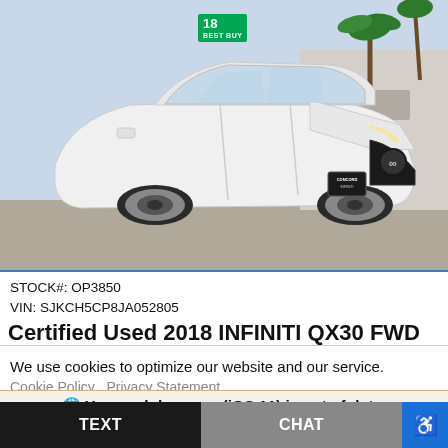[Figure (photo): White 2018 Infiniti QX30 SUV parked in a lot, front three-quarter view, with a green '18 BEST BUY' price tag on windshield and INFINITI badge visible. Dealer plate reads CONCORD INFINITI. Palm trees and building visible in background.]
STOCK#: OP3850
VIN: SJKCH5CP8JA052805
Certified Used 2018 INFINITI QX30 FWD
We use cookies to optimize our website and our service.
Cookie Policy   Privacy Statement
🌐 Your web browser (iOS 11) is out of date. Update your browser for more security, speed and the best experience on this site.
TEXT
CHAT